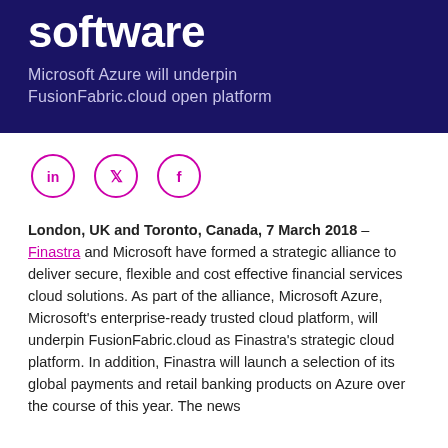software
Microsoft Azure will underpin FusionFabric.cloud open platform
[Figure (other): Social media icons: LinkedIn, Twitter, Facebook in pink outlined circles]
London, UK and Toronto, Canada, 7 March 2018 – Finastra and Microsoft have formed a strategic alliance to deliver secure, flexible and cost effective financial services cloud solutions. As part of the alliance, Microsoft Azure, Microsoft's enterprise-ready trusted cloud platform, will underpin FusionFabric.cloud as Finastra's strategic cloud platform. In addition, Finastra will launch a selection of its global payments and retail banking products on Azure over the course of this year. The news